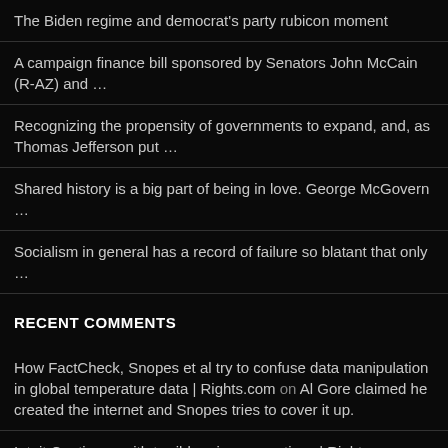The Biden regime and democrat's party rubicon moment
A campaign finance bill sponsored by Senators John McCain (R-AZ) and …
Recognizing the propensity of governments to expand, and, as Thomas Jefferson put …
Shared history is a big part of being in love. George McGovern …
Socialism in general has a record of failure so blatant that only …
RECENT COMMENTS
How FactCheck, Snopes et al try to confuse data manipulation in global temperature data | Rights.com on Al Gore claimed he created the internet and Snopes tries to cover it up.
Intuit Continues with terrible privacy practices | Rights.com on Intuit TurboTax ignores their privacy policy too!